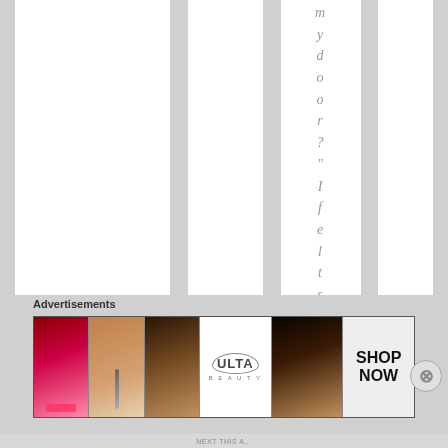mydoor? " I felt sensi:
[Figure (screenshot): Advertisement banner showing beauty/makeup products including lips, makeup brush, eyes, Ulta Beauty logo, and Shop Now button]
Advertisements
NEXT THIS A...